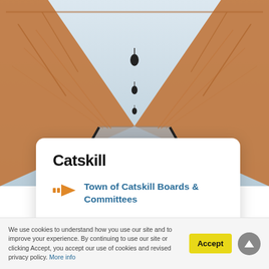[Figure (photo): Photograph of a pedestrian bridge with orange/rust-colored steel truss structure and hanging lanterns, viewed in perspective down the walkway]
Catskill
Town of Catskill Boards & Committees
Village of Catskill Planning & Zoning Boards
We use cookies to understand how you use our site and to improve your experience. By continuing to use our site or clicking Accept, you accept our use of cookies and revised privacy policy. More info